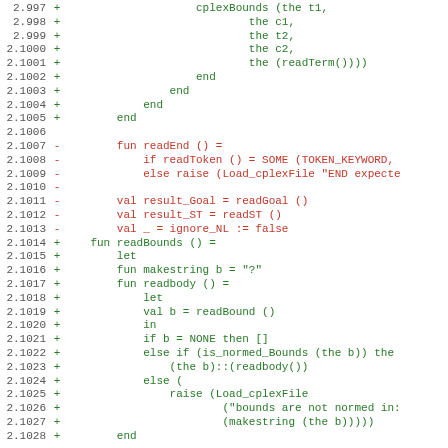[Figure (screenshot): Source code diff view showing line numbers 2.997-2.1028 with green added lines (+) and red removed lines (-) of functional programming code]